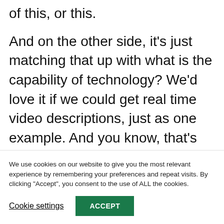of this, or this.
And on the other side, it’s just matching that up with what is the capability of technology? We’d love it if we could get real time video descriptions, just as one example. And you know, that’s not there yet. But there are scientists working in that field and many more. There are other areas like– don’t know which to pick– so
We use cookies on our website to give you the most relevant experience by remembering your preferences and repeat visits. By clicking “Accept”, you consent to the use of ALL the cookies.
Cookie settings
ACCEPT